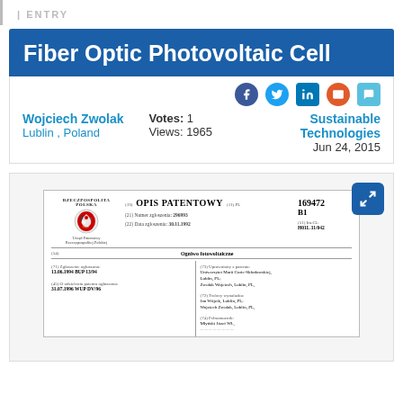ENTRY
Fiber Optic Photovoltaic Cell
Wojciech Zwolak   Votes: 1   Sustainable Technologies
Lublin , Poland   Views: 1965   Jun 24, 2015
[Figure (screenshot): Preview of a Polish patent document (OPIS PATENTOWY) for patent PL 169472 B1, showing patent number 296993, date 30.11.1992, and details about the Fiber Optic Photovoltaic Cell (Ogniwo fotowoltaiczne). Includes coat of arms of Poland, classification H01L 31/042, filing date 13.06.1994 BUP 13/94, priority date 31.07.1992 WSP DV/98, assignee Uniwersytet Marii Curie-Sklodowskiej Lublin PL and Zwolak Wojciech Lublin PL, inventors Jan Wójcik Lublin PL and Wojciech Zwolak Lublin PL.]